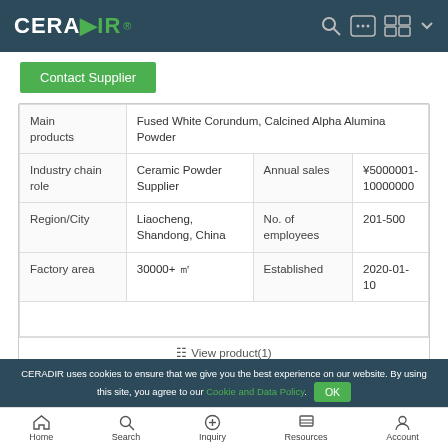CERADIR — navigation header with logo and icons
Contact Supplier
| Field | Value | Field | Value |
| --- | --- | --- | --- |
| Main products | Fused White Corundum, Calcined Alpha Alumina Powder |  |  |
| Industry chain role | Ceramic Powder Supplier | Annual sales | ￥5000001-10000000 |
| Region/City | Liaocheng, Shandong, China | No. of employees | 201-500 |
| Factory area | 30000+ ㎡ | Established | 2020-01-10 |
View product(1)
Chaozhou Three-Circle (Group) Co., Ltd.
CERADIR uses cookies to ensure that we give you the best experience on our website. By using this site, you agree to our Cookie and Data Policy. OK
Home  Search  Inquiry  Resources  Account